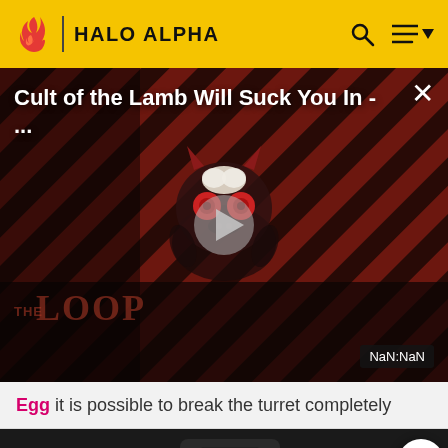HALO ALPHA
[Figure (screenshot): Video overlay showing 'Cult of the Lamb Will Suck You In - ...' with diagonal red/dark stripes background, a cartoon character (The Loop logo mascot), a play button in the center, and 'NaN:NaN' time badge in the bottom right. Close X button in top right.]
Egg it is possible to break the turret completely
[Figure (screenshot): Dark game screenshot showing what appears to be a vehicle or mechanical element in low light]